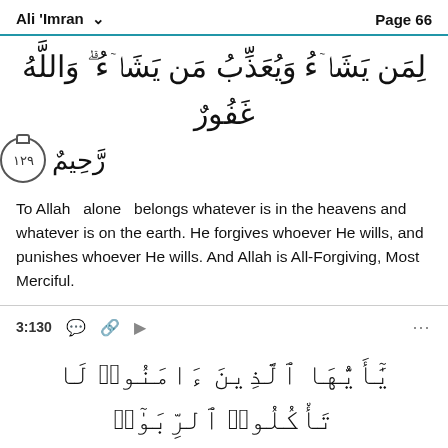Ali 'Imran   Page 66
لِمَن يَشَاۤءُ وَيُعَذِّبُ مَن يَشَاۤءُ ۗ وَاللَّهُ غَفُورٌ رَّحِيمٌ ۝١٢٩
To Allah  alone  belongs whatever is in the heavens and whatever is on the earth. He forgives whoever He wills, and punishes whoever He wills. And Allah is All-Forgiving, Most Merciful.
3:130
يَٰٓأَيُّهَا ٱلَّذِينَ ءَامَنُوا۟ لَا تَأْكُلُوا۟ ٱلرِّبَوٰٓا۟